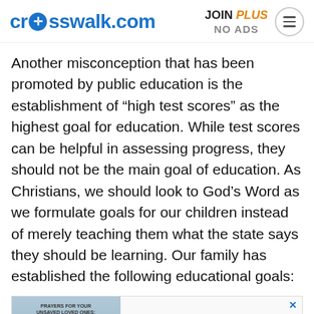crosswalk.com | JOIN PLUS NO ADS
Another misconception that has been promoted by public education is the establishment of “high test scores” as the highest goal for education. While test scores can be helpful in assessing progress, they should not be the main goal of education. As Christians, we should look to God’s Word as we formulate goals for our children instead of merely teaching them what the state says they should be learning. Our family has established the following educational goals:
[Figure (infographic): Advertisement banner for 'Prayers For Your Unsaved Loved Ones: A Complete Scripture' book, showing book cover on left with mountain/person background image and bold text on right.]